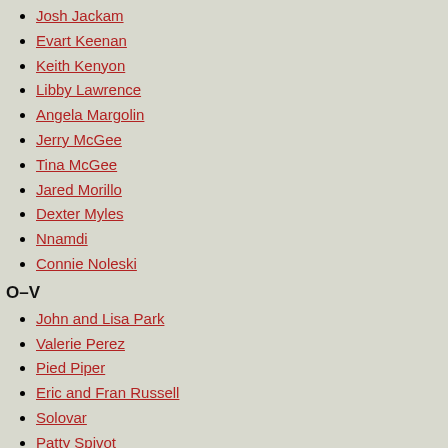Josh Jackam
Evart Keenan
Keith Kenyon
Libby Lawrence
Angela Margolin
Jerry McGee
Tina McGee
Jared Morillo
Dexter Myles
Nnamdi
Connie Noleski
O–V
John and Lisa Park
Valerie Perez
Pied Piper
Eric and Fran Russell
Solovar
Patty Spivot
Meloni Thawne
Mason Trollbridge
W–Z
Fiona Webb
Ira West
Iris West II